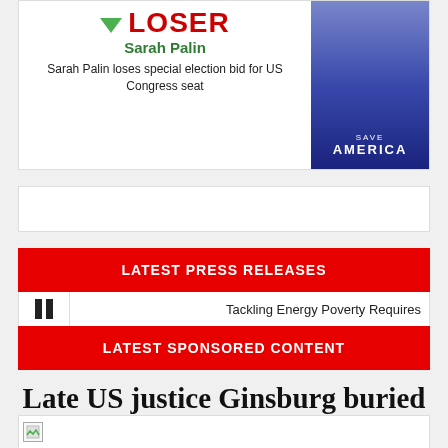[Figure (infographic): Card showing LOSER label in red with green arrow down, Sarah Palin name in green, description text, and a photo of Sarah Palin at a Save America rally]
LOSER
Sarah Palin
Sarah Palin loses special election bid for US Congress seat
[Figure (photo): Photo of Sarah Palin at a Save America rally with blue background]
LATEST PRESS RELEASES
Tackling Energy Poverty Requires
LATEST SPONSORED CONTENT
Late US justice Ginsburg buried in private ceremony
[Figure (photo): Broken image placeholder at bottom of page]